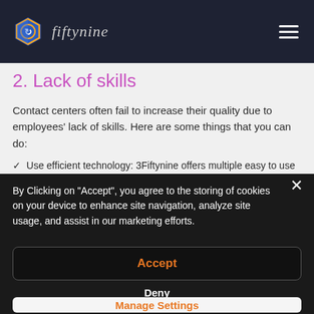fiftynine (logo navigation bar)
2. Lack of skills
Contact centers often fail to increase their quality due to employees' lack of skills. Here are some things that you can do:
Use efficient technology: 3Fiftynine offers multiple easy to use
By Clicking on "Accept", you agree to the storing of cookies on your device to enhance site navigation, analyze site usage, and assist in our marketing efforts.
Accept
Deny
Manage Settings